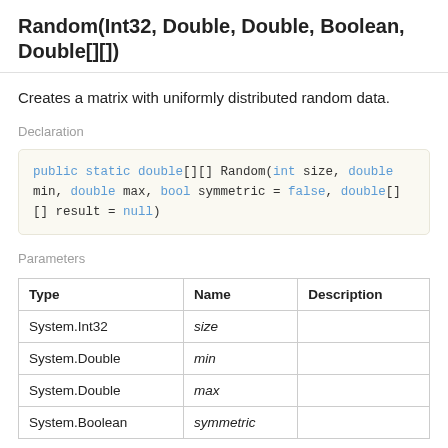Random(Int32, Double, Double, Boolean, Double[][])
Creates a matrix with uniformly distributed random data.
Declaration
public static double[][] Random(int size, double min, double max, bool symmetric = false, double[][] result = null)
Parameters
| Type | Name | Description |
| --- | --- | --- |
| System.Int32 | size |  |
| System.Double | min |  |
| System.Double | max |  |
| System.Boolean | symmetric |  |